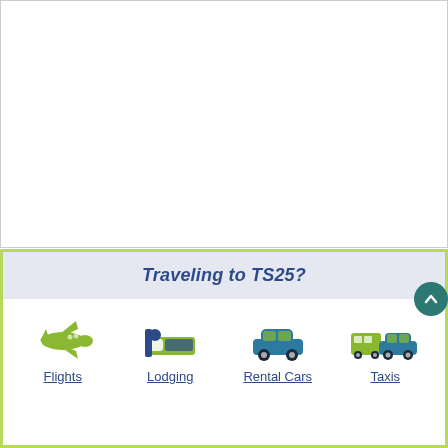[Figure (illustration): White blank content area at the top of the page, representing an image or map placeholder with a light border]
Traveling to TS25?
[Figure (infographic): Four travel category icons with labels: Flights (airplane icon, green), Lodging (bed icon, green), Rental Cars (car icon, blue), Taxis (bus and car icons, mixed green/blue). Underlined blue text labels below each icon.]